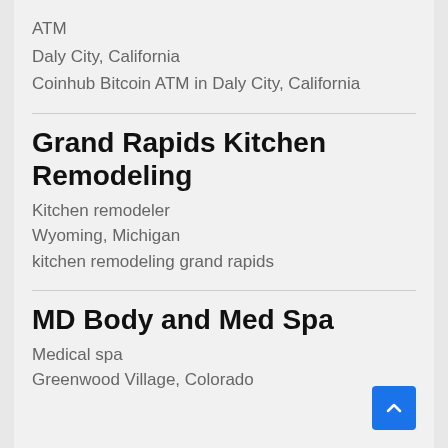ATM
Daly City, California
Coinhub Bitcoin ATM in Daly City, California
Grand Rapids Kitchen Remodeling
Kitchen remodeler
Wyoming, Michigan
kitchen remodeling grand rapids
MD Body and Med Spa
Medical spa
Greenwood Village, Colorado